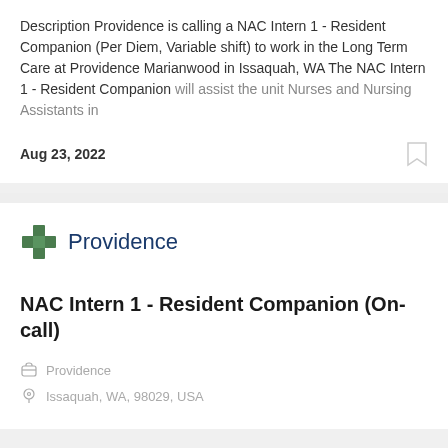Description Providence is calling a NAC Intern 1 - Resident Companion (Per Diem, Variable shift) to work in the Long Term Care at Providence Marianwood in Issaquah, WA The NAC Intern 1 - Resident Companion will assist the unit Nurses and Nursing Assistants in
Aug 23, 2022
[Figure (logo): Providence logo with green cross icon and dark blue 'Providence' text]
NAC Intern 1 - Resident Companion (On-call)
Providence
Issaquah, WA, 98029, USA